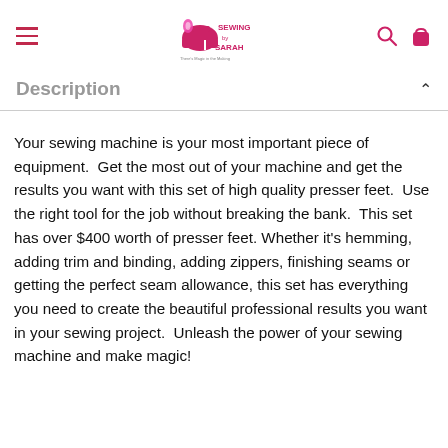Sewing by Sarah
Description
Your sewing machine is your most important piece of equipment.  Get the most out of your machine and get the results you want with this set of high quality presser feet.  Use the right tool for the job without breaking the bank.  This set has over $400 worth of presser feet. Whether it's hemming, adding trim and binding, adding zippers, finishing seams or getting the perfect seam allowance, this set has everything you need to create the beautiful professional results you want in your sewing project.  Unleash the power of your sewing machine and make magic!